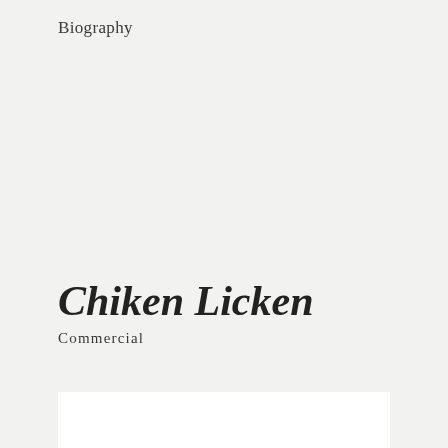Biography
Chiken Licken
Commercial